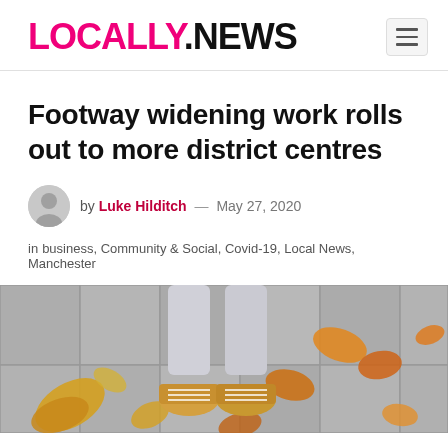LOCALLY.NEWS
Footway widening work rolls out to more district centres
by Luke Hilditch — May 27, 2020
in business, Community & Social, Covid-19, Local News, Manchester
[Figure (photo): Person standing on paved footway with autumn leaves scattered around their feet, wearing light grey jeans and yellow/tan sneakers. The paving stones are grey and the leaves are yellow, orange, and brown.]